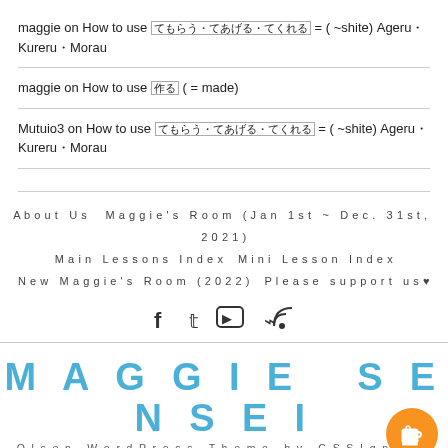maggie on How to use てもらう・てあげる・てくれる = ( ~shite) Ageru・Kureru・Morau
maggie on How to use 作る ( = made)
Mutuio3 on How to use てもらう・てあげる・てくれる = ( ~shite) Ageru・Kureru・Morau
About Us   Maggie's Room (Jan 1st ~ Dec. 31st, 2021)   Main Lessons Index   Mini Lesson Index   New Maggie's Room (2022)   Please support us♥
MAGGIE SENSEI
Olsen WordPress Theme by CSSIgniter